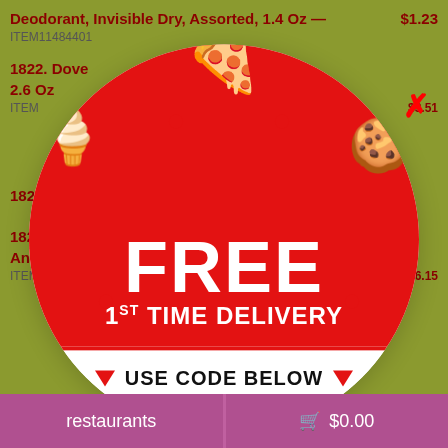Deodorant, Invisible Dry, Assorted, 1.4 Oz — ITEM11484401 $1.23
1822. Dove ... dorant, 2.6 Oz ... ITEM... $3.51
[Figure (infographic): Circular promotional overlay for free first time delivery. Red top half with pizza, ice cream, cookie illustrations and text FREE 1ST TIME DELIVERY. White bottom half with USE CODE BELOW, promo code ONLYNEW56, *max value $5.00, and Takeout 4 You logo.]
1822... Antipe... ITEM1691... $6.15
restaurants   $0.00